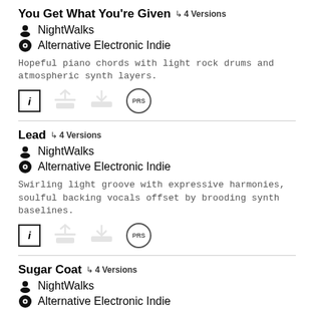You Get What You're Given ↳ 4 Versions
NightWalks
Alternative Electronic Indie
Hopeful piano chords with light rock drums and atmospheric synth layers.
[Figure (infographic): Row of icons: info box [i], upload/waveform icon, download/inbox icon, PRS circle badge]
Lead ↳ 4 Versions
NightWalks
Alternative Electronic Indie
Swirling light groove with expressive harmonies, soulful backing vocals offset by brooding synth baselines.
[Figure (infographic): Row of icons: info box [i], upload/waveform icon, download/inbox icon, PRS circle badge]
Sugar Coat ↳ 4 Versions
NightWalks
Alternative Electronic Indie
Subdued and moody groove with skeleton drums, warm synths and piano.
[Figure (infographic): Row of icons: info box [i], upload/waveform icon, PRS circle badge (partially visible)]